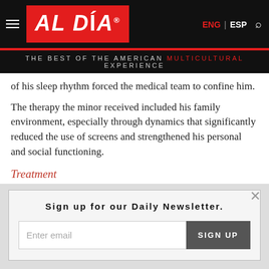AL DÍA — THE BEST OF THE AMERICAN MULTICULTURAL EXPERIENCE
of his sleep rhythm forced the medical team to confine him.
The therapy the minor received included his family environment, especially through dynamics that significantly reduced the use of screens and strengthened his personal and social functioning.
Treatment
The specialists who dealt with the case warned about the need for parents to be attentive to those applications and video
Sign up for our Daily Newsletter.